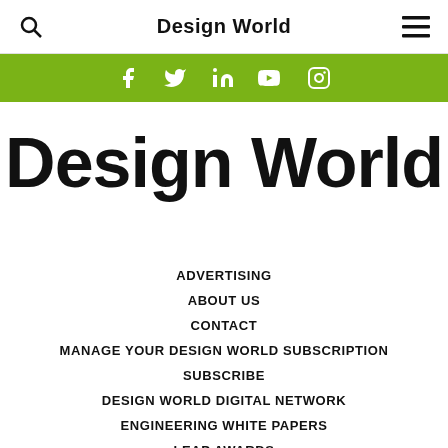Design World
[Figure (infographic): Green social media bar with icons for Facebook, Twitter, LinkedIn, YouTube, and Instagram]
Design World
ADVERTISING
ABOUT US
CONTACT
MANAGE YOUR DESIGN WORLD SUBSCRIPTION
SUBSCRIBE
DESIGN WORLD DIGITAL NETWORK
ENGINEERING WHITE PAPERS
LEAP AWARDS